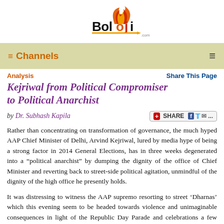[Figure (logo): Boloji.com logo with stylized bird/flame above the bold text 'Boloji' and a pencil underline with '.com']
≡Channels
Analysis    Share This Page
Kejriwal from Political Compromiser to Political Anarchist
by Dr. Subhash Kapila
Rather than concentrating on transformation of governance, the much hyped AAP Chief Minister of Delhi, Arvind Kejriwal, lured by media hype of being a strong factor in 2014 General Elections, has in three weeks degenerated into a "political anarchist" by dumping the dignity of the office of Chief Minister and reverting back to street-side political agitation, unmindful of the dignity of the high office he presently holds.
It was distressing to witness the AAP supremo resorting to street 'Dharnas' which this evening seem to be headed towards violence and unimaginable consequences in light of the Republic Day Parade and celebrations a few days hence in the very area in which these events are scheduled. The Chief Minister refused to shift his